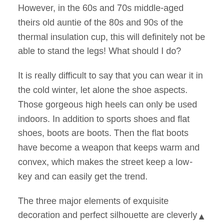However, in the 60s and 70s middle-aged theirs old auntie of the 80s and 90s of the thermal insulation cup, this will definitely not be able to stand the legs! What should I do?
It is really difficult to say that you can wear it in the cold winter, let alone the shoe aspects. Those gorgeous high heels can only be used indoors. In addition to sports shoes and flat shoes, boots are boots. Then the flat boots have become a weapon that keeps warm and convex, which makes the street keep a low -key and can easily get the trend.
The three major elements of exquisite decoration and perfect silhouette are cleverly fused. While maintaining the original characteristics, the classic style adds jewelry light color tones and metal details; the material quotes soft calf leather, gorgeous fine lines, and super soft leather even highlights the dazzling luxury.